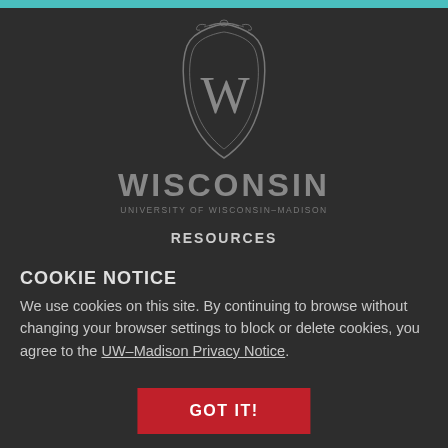[Figure (logo): University of Wisconsin-Madison crest/shield logo with ornate border and W letterform, with 'WISCONSIN' text below and 'UNIVERSITY OF WISCONSIN-MADISON' subtitle]
RESOURCES
COOKIE NOTICE
We use cookies on this site. By continuing to browse without changing your browser settings to block or delete cookies, you agree to the UW–Madison Privacy Notice.
GOT IT!